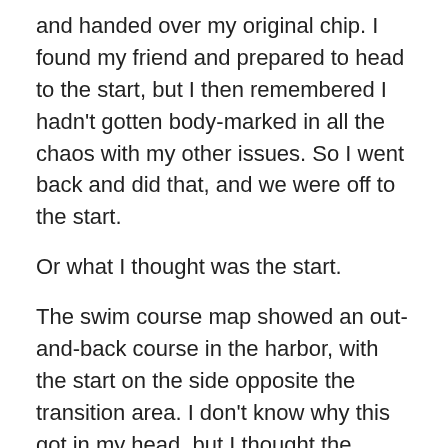and handed over my original chip. I found my friend and prepared to head to the start, but I then remembered I hadn't gotten body-marked in all the chaos with my other issues. So I went back and did that, and we were off to the start.
Or what I thought was the start.
The swim course map showed an out-and-back course in the harbor, with the start on the side opposite the transition area. I don't know why this got in my head, but I thought the entrance to the water was on that other side as well. So we headed over, despite the fact that NO OTHER TRIATHLETES WERE HEADING THAT WAY. Basically, every instinct I had that morning was wrong. Sure enough, I looked across the water and saw age groups entering the